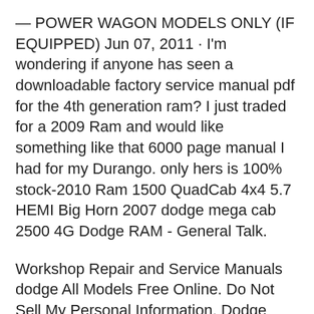— POWER WAGON MODELS ONLY (IF EQUIPPED) Jun 07, 2011 · I'm wondering if anyone has seen a downloadable factory service manual pdf for the 4th generation ram? I just traded for a 2009 Ram and would like something like that 6000 page manual I had for my Durango. only hers is 100% stock-2010 Ram 1500 QuadCab 4x4 5.7 HEMI Big Horn 2007 dodge mega cab 2500 4G Dodge RAM - General Talk.
Workshop Repair and Service Manuals dodge All Models Free Online. Do Not Sell My Personal Information. Dodge Workshop Manuals. HOME < Daihatsu Workshop Manuals Eagle Workshop Manuals > Free Online Service and